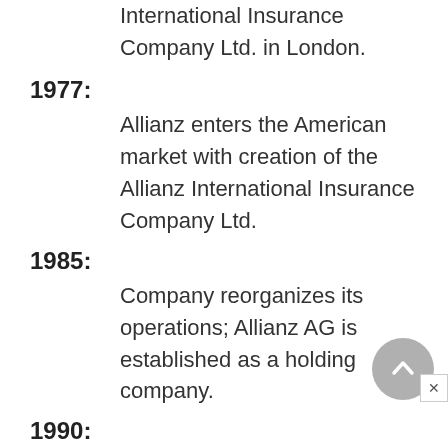International Insurance Company Ltd. in London.
1977: Allianz enters the American market with creation of the Allianz International Insurance Company Ltd.
1985: Company reorganizes its operations; Allianz AG is established as a holding company.
1990: Allianz acquires the state